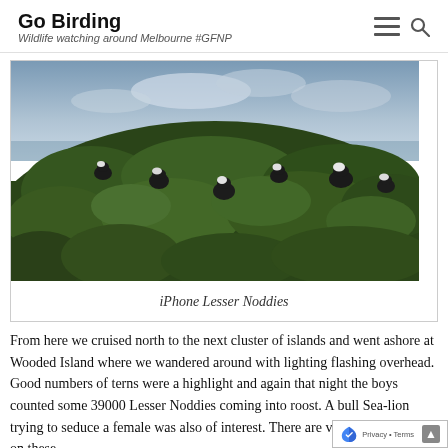Go Birding — Wildlife watching around Melbourne #GFNP
[Figure (photo): A group of dark-plumaged birds (Lesser Noddies) perched among dense green leafy shrubs, with a cloudy sky and ocean in the background. Taken with an iPhone.]
iPhone Lesser Noddies
From here we cruised north to the next cluster of islands and went ashore at Wooded Island where we wandered around with lighting flashing overhead. Good numbers of terns were a highlight and again that night the boys counted some 39000 Lesser Noddies coming into roost. A bull Sea-lion trying to seduce a female was also of interest. There are very few passerines on these